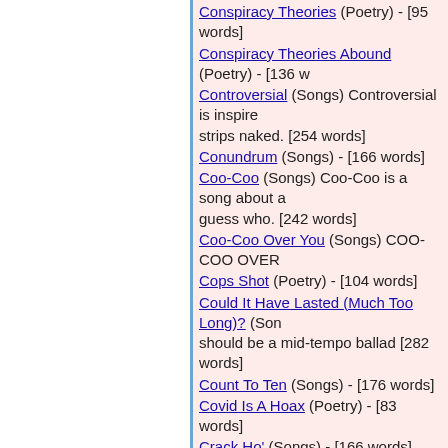Conspiracy Theories (Poetry) - [95 words]
Conspiracy Theories Abound (Poetry) - [136 w...
Controversial (Songs) Controversial is inspire... strips naked. [254 words]
Conundrum (Songs) - [166 words]
Coo-Coo (Songs) Coo-Coo is a song about a... guess who. [242 words]
Coo-Coo Over You (Songs) COO-COO OVER...
Cops Shot (Poetry) - [104 words]
Could It Have Lasted (Much Too Long)? (Songs)... should be a mid-tempo ballad [282 words]
Count To Ten (Songs) - [176 words]
Covid Is A Hoax (Poetry) - [83 words]
Crack Ho' (Songs) - [166 words]
Crazy In Love (Songs) - [173 words]
Crazy Is As Crazy Does (Songs) Crazy Is As... female singers that come to mind. It is written...
Cross That Off Your List (Songs) Cross That O... and was inspired by an in-depth MTV special.
Cruisin Down The Drive (Songs) Cruisin Dow... anticipation. [177 words]
Crying My Eyes Out (Songs) - [121 words]
C-Street Fellowship (Songs) C-Street Fellows... should have a Jason Mraz flavor. [209 words]
Cult Figure (Songs) Cult Figure is yet another... [169 words]